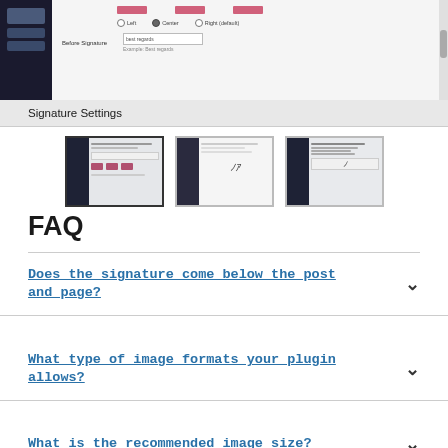[Figure (screenshot): Screenshot of a plugin settings interface showing signature settings panel with color boxes, radio buttons for Left/Center/Right alignment, and a 'Before Signature' text input field with placeholder 'best regards']
Signature Settings
[Figure (screenshot): Three thumbnail screenshots showing different views of a signature settings plugin interface: first shows settings with color options and buttons, second shows a document with a signature, third shows dark sidebar with signature form]
FAQ
Does the signature come below the post and page?
What type of image formats your plugin allows?
What is the recommended image size?